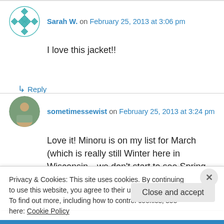Sarah W. on February 25, 2013 at 3:06 pm
I love this jacket!!
↳ Reply
sometimessewist on February 25, 2013 at 3:24 pm
Love it! Minoru is on my list for March (which is really still Winter here in Wisconsin…we don't start to see Spring until very late in the month or
Privacy & Cookies: This site uses cookies. By continuing to use this website, you agree to their use. To find out more, including how to control cookies, see here: Cookie Policy
Close and accept